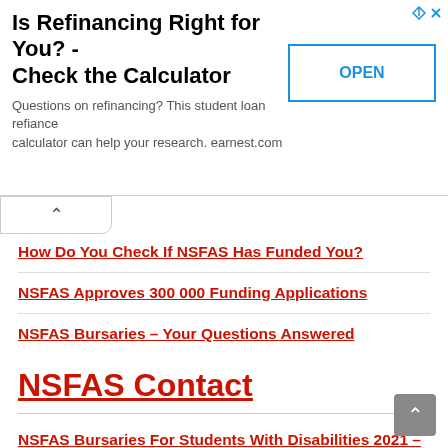[Figure (screenshot): Advertisement banner: 'Is Refinancing Right for You? - Check the Calculator' with OPEN button and earnest.com description]
How Do You Check If NSFAS Has Funded You?
NSFAS Approves 300 000 Funding Applications
NSFAS Bursaries – Your Questions Answered
NSFAS Contact
NSFAS Bursaries For Students With Disabilities 2021 – 2022
NSFAS Application Form
Click Here Details On NSFAS, National Student